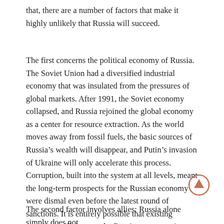that, there are a number of factors that make it highly unlikely that Russia will succeed.
The first concerns the political economy of Russia. The Soviet Union had a diversified industrial economy that was insulated from the pressures of global markets. After 1991, the Soviet economy collapsed, and Russia rejoined the global economy as a center for resource extraction. As the world moves away from fossil fuels, the basic sources of Russia’s wealth will disappear, and Putin’s invasion of Ukraine will only accelerate this process. Corruption, built into the system at all levels, meant the long-term prospects for the Russian economy were dismal even before the latest round of sanctions. It is entirely possible that existing sanctions will damage the Russian economy in ways that rival what occurred in the 1990s. If this were to happen, it would wipe out any semblance of the economic and social stability that has been Putin’s core source of legitimacy.
The second factor involves allies: Russia alone simply does not